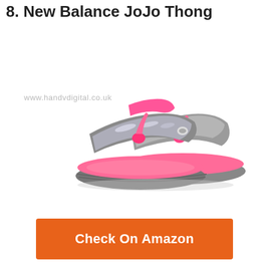8. New Balance JoJo Thong
[Figure (photo): Pink and gray New Balance JoJo Thong flip flop sandals with glittery gray strap across the top, pink footbed, and gray rubber sole. Two sandals shown overlapping each other.]
www.handvdigital.co.uk
Check On Amazon